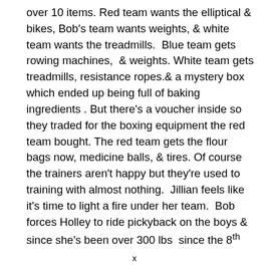over 10 items. Red team wants the elliptical & bikes, Bob's team wants weights, & white team wants the treadmills.  Blue team gets  rowing machines,  & weights. White team gets treadmills, resistance ropes.& a mystery box which ended up being full of baking ingredients . But there's a voucher inside so they traded for the boxing equipment the red team bought. The red team gets the flour bags now, medicine balls, & tires. Of course the trainers aren't happy but they're used to training with almost nothing.  Jillian feels like it's time to light a fire under her team.  Bob forces Holley to ride pickyback on the boys & since she's been over 300 lbs  since the 8th
x